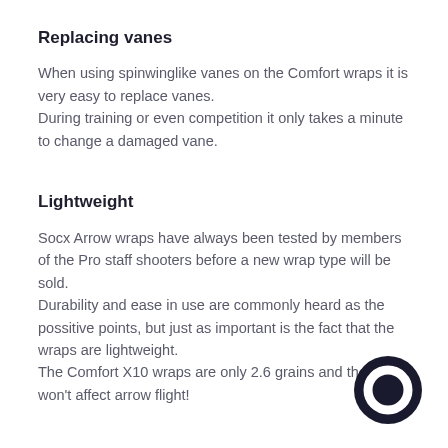Replacing vanes
When using spinwinglike vanes on the Comfort wraps it is very easy to replace vanes.
During training or even competition it only takes a minute to change a damaged vane.
Lightweight
Socx Arrow wraps have always been tested by members of the Pro staff shooters before a new wrap type will be sold.
Durability and ease in use are commonly heard as the possitive points, but just as important is the fact that the wraps are lightweight.
The Comfort X10 wraps are only 2.6 grains and therefor won't affect arrow flight!
[Figure (logo): Circular dark logo/icon in bottom right corner]